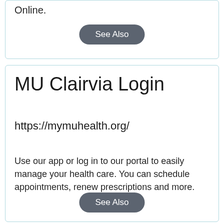Online.
See Also
MU Clairvia Login
https://mymuhealth.org/
Use our app or log in to our portal to easily manage your health care. You can schedule appointments, renew prescriptions and more.
See Also